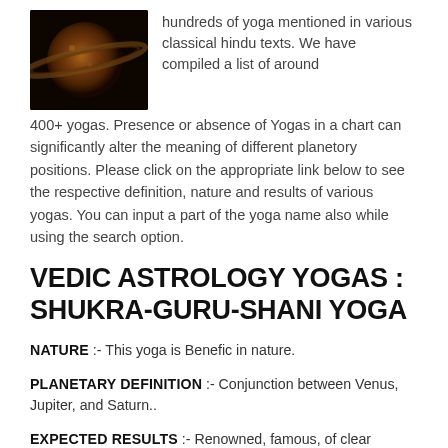[Figure (photo): Dark photograph of a planet (appears to be Saturn or similar celestial body) against a black background]
hundreds of yoga mentioned in various classical hindu texts. We have compiled a list of around 400+ yogas. Presence or absence of Yogas in a chart can significantly alter the meaning of different planetory positions. Please click on the appropriate link below to see the respective definition, nature and results of various yogas. You can input a part of the yoga name also while using the search option.
VEDIC ASTROLOGY YOGAS : SHUKRA-GURU-SHANI YOGA
NATURE :- This yoga is Benefic in nature.
PLANETARY DEFINITION :- Conjunction between Venus, Jupiter, and Saturn..
EXPECTED RESULTS :- Renowned, famous, of clear intellect, equal to a king even if born under ordinary circumstances..